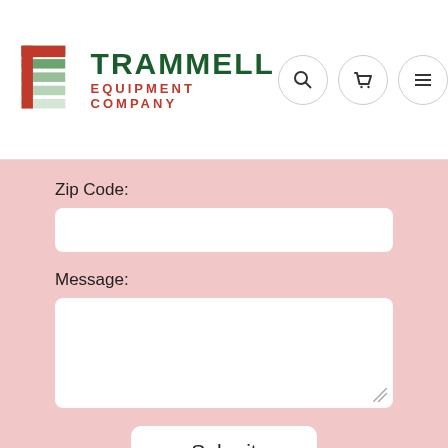[Figure (logo): Trammell Equipment Company logo with red T letterform and green stripes, company name in dark green with red subtitle]
Zip Code:
Message:
Submit
Chat with us
Keep in Touch